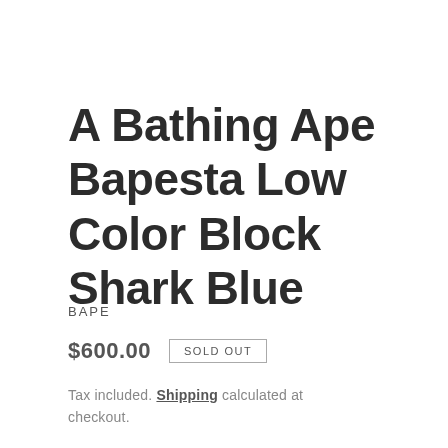A Bathing Ape Bapesta Low Color Block Shark Blue
BAPE
$600.00   SOLD OUT
Tax included. Shipping calculated at checkout.